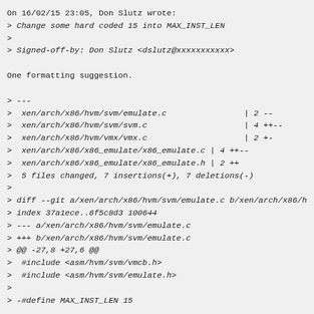On 16/02/15 23:05, Don Slutz wrote:
> Change some hard coded 15 into MAX_INST_LEN
>
> Signed-off-by: Don Slutz <dslutz@xxxxxxxxxxx>

One formatting suggestion.

> ---
>  xen/arch/x86/hvm/svm/emulate.c                | 2 --
>  xen/arch/x86/hvm/svm/svm.c                    | 4 ++--
>  xen/arch/x86/hvm/vmx/vmx.c                    | 2 +-
>  xen/arch/x86/x86_emulate/x86_emulate.c | 4 ++--
>  xen/arch/x86/x86_emulate/x86_emulate.h | 2 ++
>  5 files changed, 7 insertions(+), 7 deletions(-)
>
> diff --git a/xen/arch/x86/hvm/svm/emulate.c b/xen/arch/x86/h
> index 37a1ece..6f5c8d3 100644
> --- a/xen/arch/x86/hvm/svm/emulate.c
> +++ b/xen/arch/x86/hvm/svm/emulate.c
> @@ -27,8 +27,6 @@
>  #include <asm/hvm/svm/vmcb.h>
>  #include <asm/hvm/svm/emulate.h>
>
> -#define MAX_INST_LEN 15